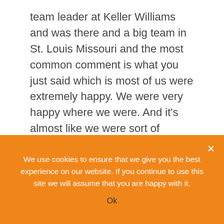team leader at Keller Williams and was there and a big team in St. Louis Missouri and the most common comment is what you just said which is most of us were extremely happy. We were very happy where we were. And it's almost like we were sort of astonished at this value proposition of eXp realty that came by and went Wait a minute. I can't not look at this because I'm a business person. I think you're like decisive like I am right. Driver personalities and I know you dug right into it and you made a decision pretty quick didn't you.

BRENT: Ten days but I was fortunate enough when I
We use cookies to ensure that we give you the best experience on our website. If you continue to use this site we will assume that you are happy with it.
Ok